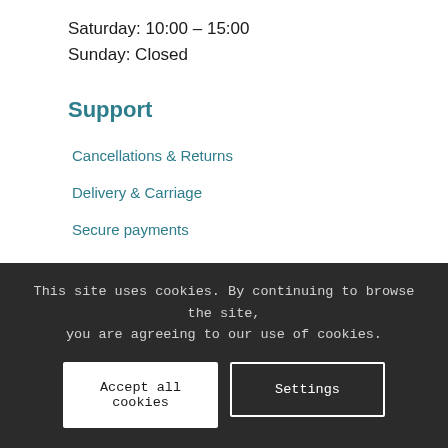Saturday: 10:00 – 15:00
Sunday: Closed
Support
Cancellations & Returns
Delivery & Carriage
Secure payments
Privacy & Cookies
Contact Us
This site uses cookies. By continuing to browse the site, you are agreeing to our use of cookies.
Accept all cookies
Settings